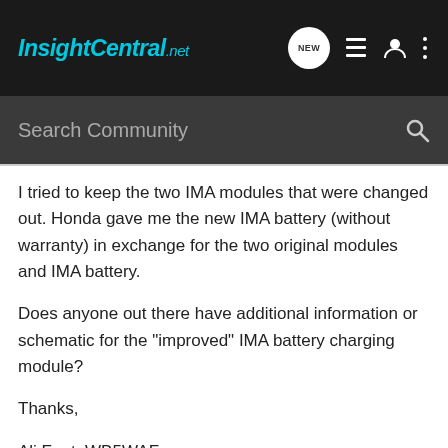InsightCentral.net
I tried to keep the two IMA modules that were changed out. Honda gave me the new IMA battery (without warranty) in exchange for the two original modules and IMA battery.

Does anyone out there have additional information or schematic for the "improved" IMA battery charging module?

Thanks,

Ali Fant, WB5WAF
I have already registered, but cannot remember my userid.